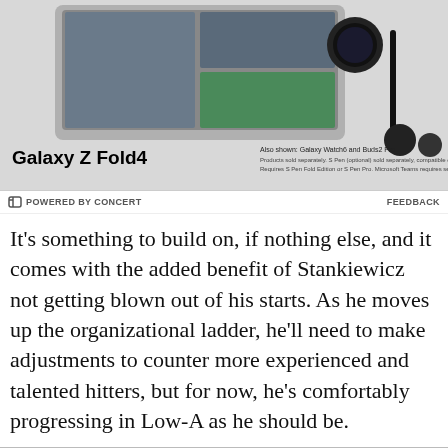[Figure (photo): Samsung Galaxy Z Fold4 advertisement showing the device with Galaxy Watch6 and Buds2 Pro]
POWERED BY CONCERT   FEEDBACK
It's something to build on, if nothing else, and it comes with the added benefit of Stankiewicz not getting blown out of his starts. As he moves up the organizational ladder, he'll need to make adjustments to counter more experienced and talented hitters, but for now, he's comfortably progressing in Low-A as he should be.
| Year | Age | Tm | Lg | Lev | ERA | GS | IP | BF | WHIP | H9 | HR9 | B |
| --- | --- | --- | --- | --- | --- | --- | --- | --- | --- | --- | --- | --- |
| 2014 | 20 | Greenville | SALL | A | 3.39 | 13 | 69.0 | 288 | 1.261 | 8.7 | 0.3 | 2 |
| 2 Seasons |  |  |  |  | 3.15 | 22 | 88.2 | 366 | 1.195 | 8.5 | 0.3 | 2 |
Provided by Baseball-Reference.com: View Original Table
Generated 6/25/2014.
Wendell Rijo, 2B